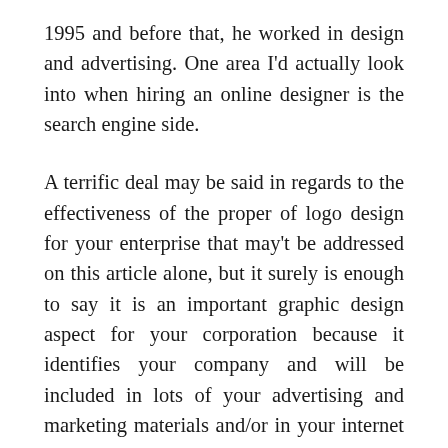1995 and before that, he worked in design and advertising. One area I'd actually look into when hiring an online designer is the search engine side.
A terrific deal may be said in regards to the effectiveness of the proper of logo design for your enterprise that may't be addressed on this article alone, but it surely is enough to say it is an important graphic design aspect for your corporation because it identifies your company and will be included in lots of your advertising and marketing materials and/or in your internet marketing corresponding to your web site.
Chris has cultivated his many years of design and model leadership expertise by producing superior inventive work; from company ID, TELEVISION